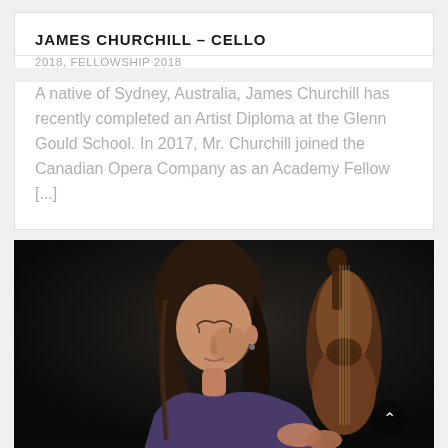JAMES CHURCHILL – CELLO
2018, FELLOWSHIP 2018
A native of Sydney, Australia, James Churchill has recently completed an Artist Diploma at the Glenn Gould School. In 2017, Mr. Churchill joined the Canadian Opera Company as an Academy Fellow [...]
[Figure (photo): A young woman with long brown hair, eyes downcast, holding a cello in a dark studio setting.]